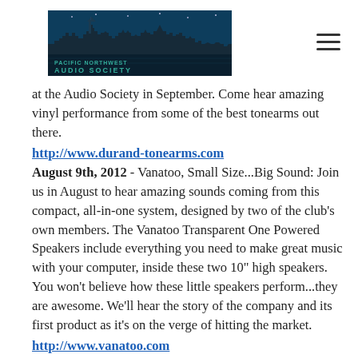[Figure (logo): Pacific Northwest Audio Society logo with city skyline silhouette on dark blue/teal background]
at the Audio Society in September. Come hear amazing vinyl performance from some of the best tonearms out there.
http://www.durand-tonearms.com
August 9th, 2012 - Vanatoo, Small Size...Big Sound: Join us in August to hear amazing sounds coming from this compact, all-in-one system, designed by two of the club's own members. The Vanatoo Transparent One Powered Speakers include everything you need to make great music with your computer, inside these two 10" high speakers. You won't believe how these little speakers perform...they are awesome. We'll hear the story of the company and its first product as it's on the verge of hitting the market.
http://www.vanatoo.com
July 12th, 2012 - Summer BBQ, Hangout and Swap Extravaganza: Join the group for a summer barbecue. We'll be firing up the grill with burgers and hot dogs. Be